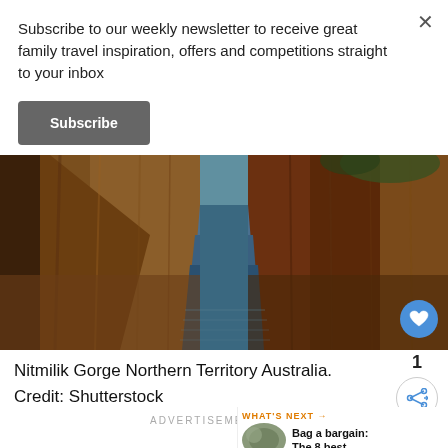Subscribe to our weekly newsletter to receive great family travel inspiration, offers and competitions straight to your inbox
Subscribe
[Figure (photo): Nitmilik Gorge, Northern Territory Australia — steep red rock canyon walls reflected in still water, viewed from water level down a narrow gorge]
Nitmilik Gorge Northern Territory Australia. Credit: Shutterstock
ADVERTISEMENT
WHAT'S NEXT → Bag a bargain: The 8 best...